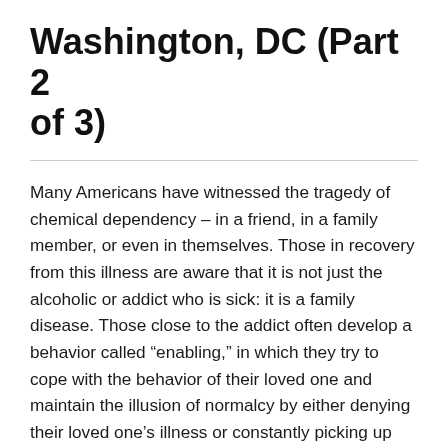Washington, DC (Part 2 of 3)
Many Americans have witnessed the tragedy of chemical dependency – in a friend, in a family member, or even in themselves. Those in recovery from this illness are aware that it is not just the alcoholic or addict who is sick: it is a family disease. Those close to the addict often develop a behavior called “enabling,” in which they try to cope with the behavior of their loved one and maintain the illusion of normalcy by either denying their loved one’s illness or constantly picking up the pieces of the damage caused, making excuses for them, and trying to hide the evidence. Such enabling behavior can